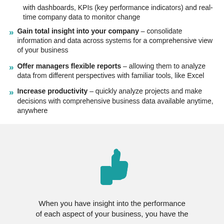with dashboards, KPIs (key performance indicators) and real-time company data to monitor change
Gain total insight into your company – consolidate information and data across systems for a comprehensive view of your business
Offer managers flexible reports – allowing them to analyze data from different perspectives with familiar tools, like Excel
Increase productivity – quickly analyze projects and make decisions with comprehensive business data available anytime, anywhere
[Figure (illustration): Teal thumbs-up icon on a light gray background]
When you have insight into the performance of each aspect of your business, you have the